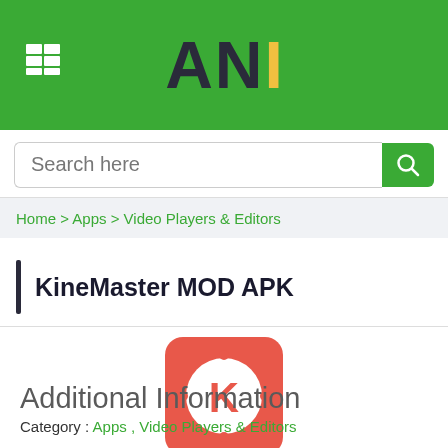ANI
Search here
Home > Apps > Video Players & Editors
KineMaster MOD APK
[Figure (logo): KineMaster app icon: red/coral rounded square with white circle and K letter in center, surrounded by small dots]
Additional Information
Category :  Apps , Video Players & Editors